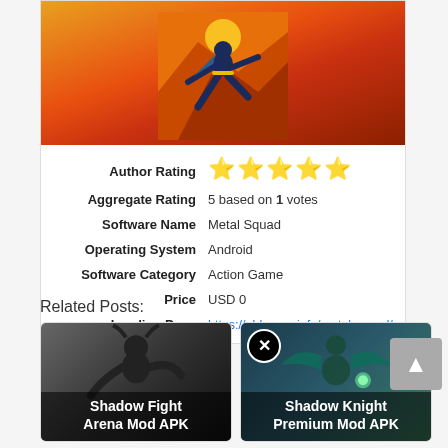[Figure (illustration): Game screenshot/artwork showing a ninja warrior in action pose against an orange sunset background]
| Author Rating | ★★★★★ |
| Aggregate Rating | 5 based on 1 votes |
| Software Name | Metal Squad |
| Operating System | Android |
| Software Category | Action Game |
| Price | USD 0 |
| Landing Page | https://gbhouse.info/metal-squad/ |
Related Posts:
[Figure (screenshot): Shadow Fight Arena Mod APK game thumbnail - dark warrior silhouette]
[Figure (screenshot): Shadow Knight Premium Mod APK game thumbnail - dark knight with glowing elements]